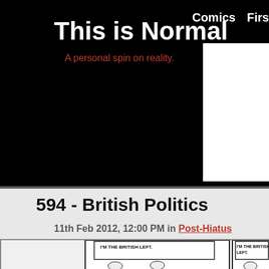This is Normal — A personal spin on reality. | Comics First
594 - British Politics
11th Feb 2012, 12:00 PM in Post-Hiatus
[Figure (illustration): Webcomic panels showing cartoon characters labeled as British political groups. Left panel: 'I'M THE BRITISH LEFT.' Right panel: 'I'M THE BRITISH CENTRE LEFT.' Characters are simple line-drawn figures.]